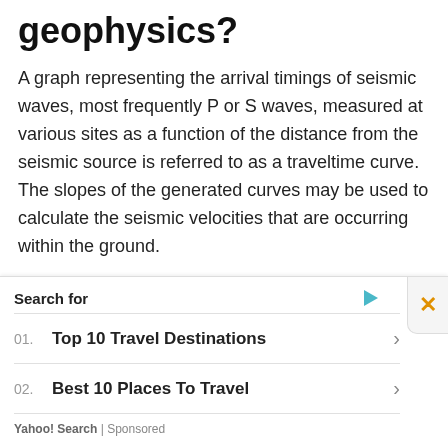geophysics?
A graph representing the arrival timings of seismic waves, most frequently P or S waves, measured at various sites as a function of the distance from the seismic source is referred to as a traveltime curve. The slopes of the generated curves may be used to calculate the seismic velocities that are occurring within the ground.
What is used to measure the
[Figure (infographic): Sponsored search ad box with close button. Contains 'Search for' header with play icon, two list items: '01. Top 10 Travel Destinations' and '02. Best 10 Places To Travel', each with a right arrow. Footer reads 'Yahoo! Search | Sponsored'.]